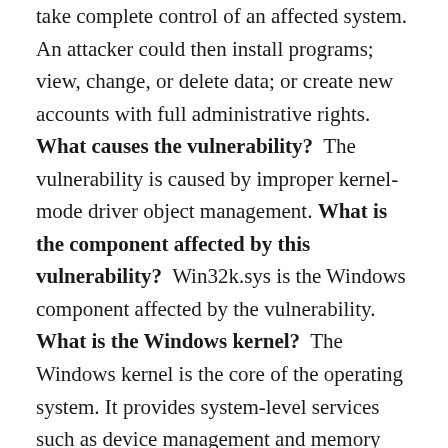take complete control of an affected system. An attacker could then install programs; view, change, or delete data; or create new accounts with full administrative rights. **What causes the vulnerability?**  The vulnerability is caused by improper kernel-mode driver object management. **What is the component affected by this vulnerability?**  Win32k.sys is the Windows component affected by the vulnerability. **What is the Windows kernel?**  The Windows kernel is the core of the operating system. It provides system-level services such as device management and memory management, allocates processor time to processes, and manages error handling. **What is the Windows kernel-mode driver (win32k.sys)?**  Win32k.sys is a kernel-mode device driver and is the kernel part of the Windows subsystem. It contains the window manager, which controls window displays; manages screen output; collects input from the keyboard, mouse, and other devices; and passes user messages to applications. It also contains